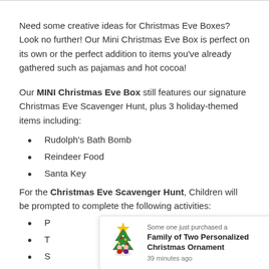Need some creative ideas for Christmas Eve Boxes? Look no further! Our Mini Christmas Eve Box is perfect on its own or the perfect addition to items you've already gathered such as pajamas and hot cocoa!
Our MINI Christmas Eve Box still features our signature Christmas Eve Scavenger Hunt, plus 3 holiday-themed items including:
Rudolph's Bath Bomb
Reindeer Food
Santa Key
For the Christmas Eve Scavenger Hunt, Children will be prompted to complete the following activities:
P[artially visible]
T[partially visible]
S[partially visible]
B[partially visible]
Sprinkle Reindeer Food
[Figure (infographic): Notification popup: 'Some one just purchased a Family of Two Personalized Christmas Ornament 39 minutes ago' with a Christmas tree ornament illustration]